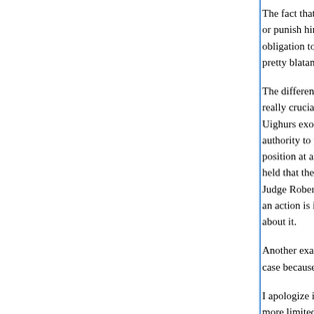The fact that no one has the authority to stop the President from breaking it, or punish him for breaking it, does not make his a legal act. He has an obligation to classify according to the terms of the executive order and is pretty blatantly not meeting it.
The difference between "it's legal" and "no one has the power to stop it" is really crucial. Look at Qassem v. Bush: Judge Robertson held that the Uighurs exonerated by their CSRT were being held illegally, but lacked authority to provide any remedy. Look at Arar v. Ashcroft: the government took no position at all on whether shipping Maher Arar off to Syria was legal, but held that the court did not have the power to hear the case. Neither Judge Robertson or Trager about the courts' authority meant they thought an action is illegal but it really is true that no court can do anything about it.
Another example--the NSA lawsuits. A court might not be able to hear the case because no plaintiff has standing. It doesn't make it legal.
I apologize if I'm telling you something you already know. You seem to be making a more limited argument than you seem to be, about whether the President has the power to DEclassify information, and not an unlimited authority to retroactively declassify at will for any or no reason. But if you're...
And abuse of classification authority is not as illegal as some other abuses of power, but it enables all those other thi...